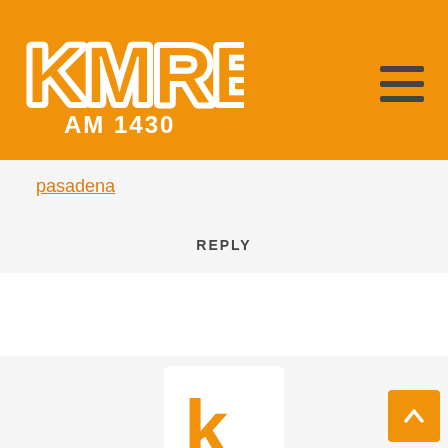KMRB AM 1430
pasadena
REPLY
[Figure (logo): KMRB orange K letter avatar/logo icon]
Kin
04/26/2017 at 3:22 pm
Wasabi:
Please let me know the Vietnamese